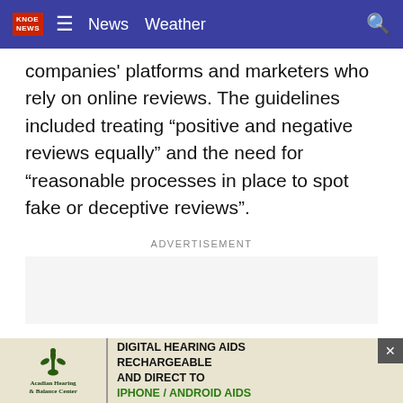KNOE News Weather
companies' platforms and marketers who rely on online reviews. The guidelines included treating “positive and negative reviews equally” and the need for “reasonable processes in place to spot fake or deceptive reviews”.
ADVERTISEMENT
Filtering the Fakes
As government agencies and major online retailers fight five-star fakes, one expert built what he said is an online transpa
Saoud
[Figure (screenshot): Bottom advertisement banner for Acadian Hearing & Balance Center promoting Digital Hearing Aids Rechargeable And Direct To iPhone / Android Aids]